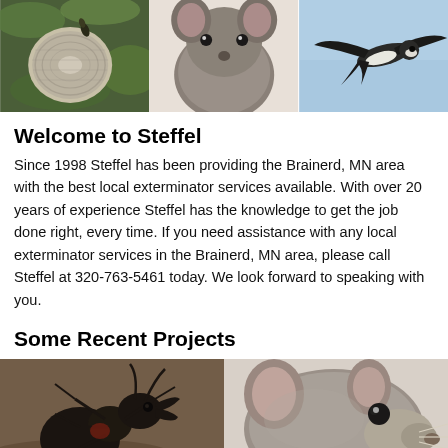[Figure (photo): Three photos in a row: wasp nest among green leaves, a grey mouse close-up, and a bird (swift) in flight against blue sky]
Welcome to Steffel
Since 1998 Steffel has been providing the Brainerd, MN area with the best local exterminator services available. With over 20 years of experience Steffel has the knowledge to get the job done right, every time. If you need assistance with any local exterminator services in the Brainerd, MN area, please call Steffel at 320-763-5461 today. We look forward to speaking with you.
Some Recent Projects
[Figure (photo): Two photos side by side: a close-up of a large black ant on ground, and a grey rat close-up]